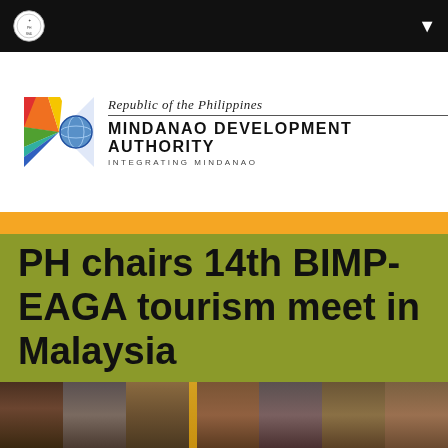Mindanao Development Authority — navigation bar with Philippine seal logo
[Figure (logo): Mindanao Development Authority logo with colorful interlocking design graphic and text: Republic of the Philippines / MINDANAO DEVELOPMENT AUTHORITY / INTEGRATING MINDANAO]
PH chairs 14th BIMP-EAGA tourism meet in Malaysia
[Figure (photo): Partial view of a meeting room with wooden panel chairs and conference table, bottom of image cropped]